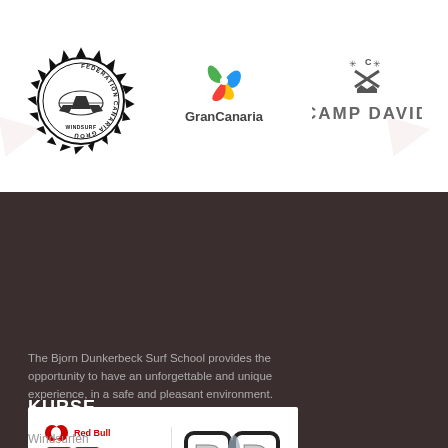[Figure (logo): FCS circular logo with gear/sun rays border, text 'FEDERATION CANARIA GROU' around center illustration]
[Figure (logo): Gran Canaria logo with colorful leaf/pinwheel icon and bold text 'GranCanaria']
[Figure (logo): Camp David logo with cross/asterisk icon and bold text 'CAMP DAVID']
[Figure (logo): Red Bull Dunkerbeck Windsurf and BD School logos side by side in white box on dark background]
The Bjorn Dunkerbeck Surf School provides the opportunity to have an unforgettable and unique experience, in a safe and pleasant environment.
KURSE
Windsurfen